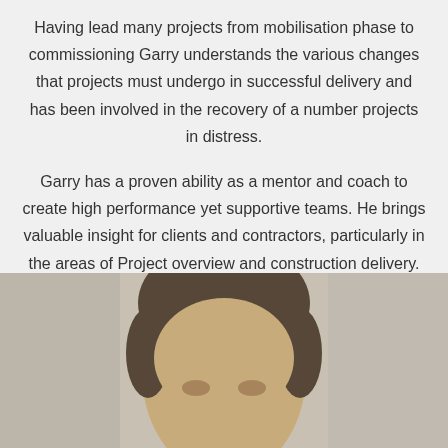Having lead many projects from mobilisation phase to commissioning Garry understands the various changes that projects must undergo in successful delivery and has been involved in the recovery of a number projects in distress.
Garry has a proven ability as a mentor and coach to create high performance yet supportive teams. He brings valuable insight for clients and contractors, particularly in the areas of Project overview and construction delivery.
[Figure (photo): Portrait photograph of a man (Garry) with dark brown hair, facing the camera. The background is a neutral beige/grey tone. The image is cropped to show the head and upper shoulders.]